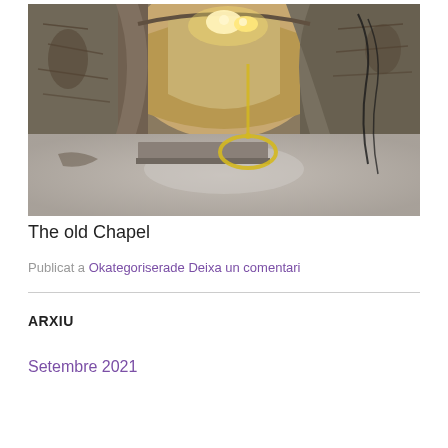[Figure (photo): Interior of an old stone chapel with arched ceiling, rough stone walls, bright lights hanging from above, a yellow hose coiled on the floor, and a concrete floor. The space appears to be under renovation.]
The old Chapel
Publicat a Okategoriserade    Deixa un comentari
ARXIU
Setembre 2021